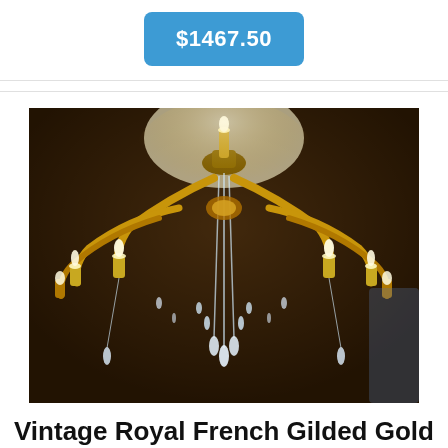$1467.50
[Figure (photo): A vintage ornate gold brass crystal chandelier with multiple arms and hanging crystal droplets, photographed against a dark interior background. The chandelier has approximately 10 candle-style lights.]
Vintage Royal French Gilded Gold Brass 10 Lights Crystal Chandelier Fixture